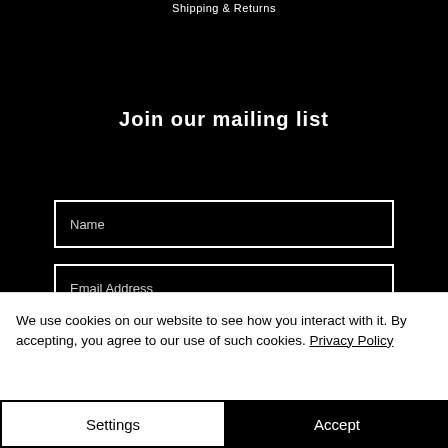Shipping & Returns
Join our mailing list
Name
Email Address
We use cookies on our website to see how you interact with it. By accepting, you agree to our use of such cookies. Privacy Policy
Settings
Accept